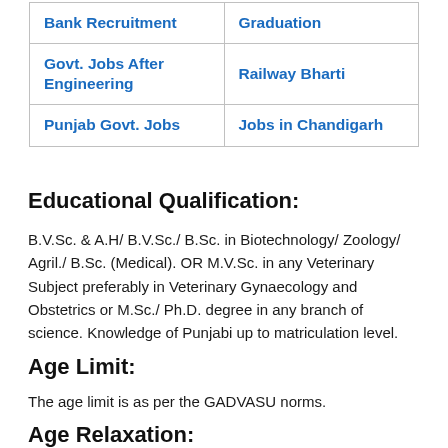| Bank Recruitment | Graduation |
| Govt. Jobs After Engineering | Railway Bharti |
| Punjab Govt. Jobs | Jobs in Chandigarh |
Educational Qualification:
B.V.Sc. & A.H/ B.V.Sc./ B.Sc. in Biotechnology/ Zoology/ Agril./ B.Sc. (Medical). OR M.V.Sc. in any Veterinary Subject preferably in Veterinary Gynaecology and Obstetrics or M.Sc./ Ph.D. degree in any branch of science. Knowledge of Punjabi up to matriculation level.
Age Limit:
The age limit is as per the GADVASU norms.
Age Relaxation: